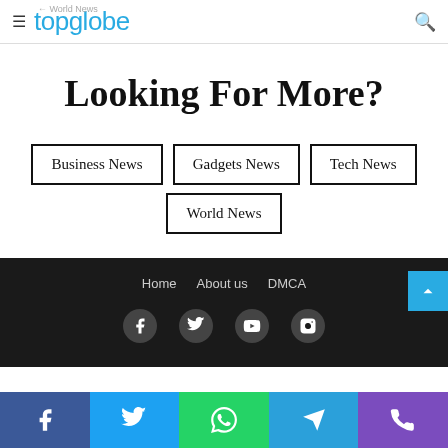World News | topglobe
Looking For More?
Business News
Gadgets News
Tech News
World News
Home  About us  DMCA